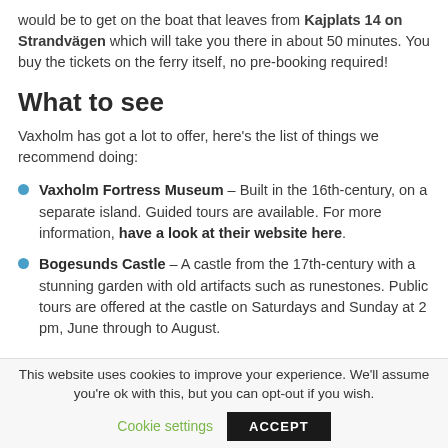would be to get on the boat that leaves from Kajplats 14 on Strandvägen which will take you there in about 50 minutes. You buy the tickets on the ferry itself, no pre-booking required!
What to see
Vaxholm has got a lot to offer, here's the list of things we recommend doing:
Vaxholm Fortress Museum – Built in the 16th-century, on a separate island. Guided tours are available. For more information, have a look at their website here.
Bogesunds Castle – A castle from the 17th-century with a stunning garden with old artifacts such as runestones. Public tours are offered at the castle on Saturdays and Sunday at 2 pm, June through to August.
This website uses cookies to improve your experience. We'll assume you're ok with this, but you can opt-out if you wish.